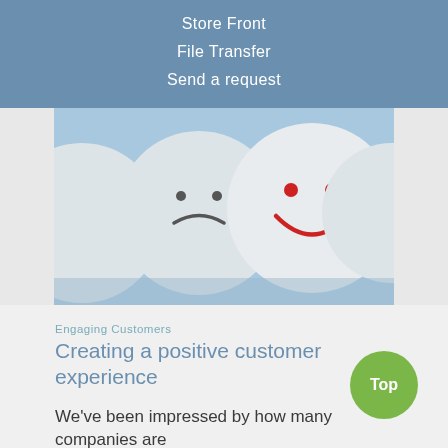Store Front
File Transfer
Send a request
[Figure (photo): Three white circular badges on a blue background. The middle one shows a red smiley face, flanked by grey sad/neutral faces.]
Engaging Customers
Creating a positive customer experience
We've been impressed by how many companies are